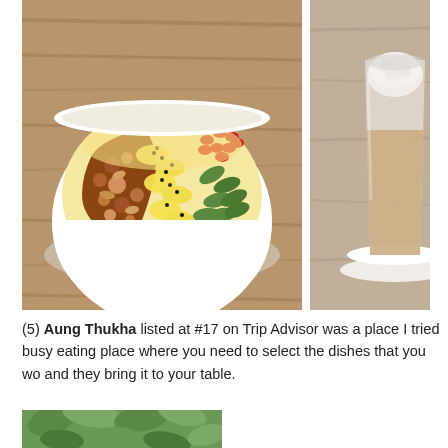[Figure (photo): Two food/drink photos side by side: left shows a white bowl filled with granola, banana slices, pumpkin seeds, goji berries, and chia seeds on a wooden table; right shows a glass of latte/cappuccino with frothy milk on a white plate.]
(5) Aung Thukha listed at #17 on Trip Advisor was a place I tried busy eating place where you need to select the dishes that you wo and they bring it to your table.
[Figure (photo): Bottom partial photo showing green leaves/plants, partially visible.]